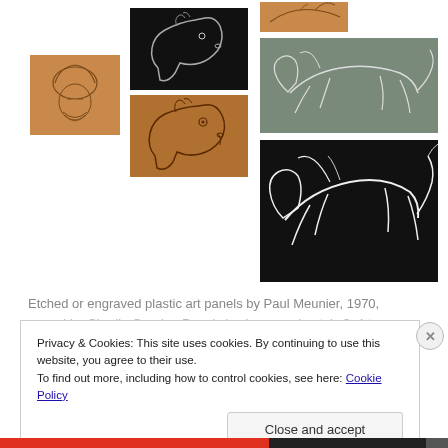[Figure (photo): Gallery of etched or engraved plastic art panels by Paul Meunier, 1970. Six panels shown: a turbaned man portrait on tan background, a horse head on black background, a horse head on brown/tan background, a bird sketch on tan background (top right), a jumping horse on grey-green background, and a jumping horse on black background.]
Etched or engraved plastic art panels by Paul Meunier, 1970, owned by Charlie Granier. Panel size is approximately 3x4 to...
Privacy & Cookies: This site uses cookies. By continuing to use this website, you agree to their use.
To find out more, including how to control cookies, see here: Cookie Policy